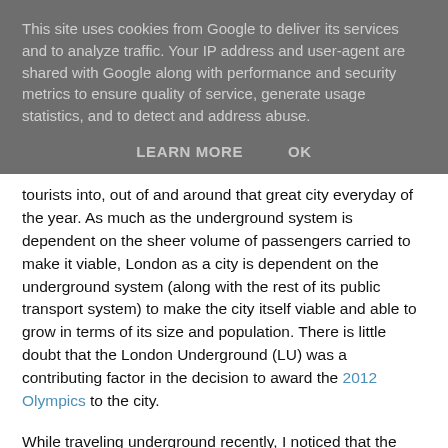This site uses cookies from Google to deliver its services and to analyze traffic. Your IP address and user-agent are shared with Google along with performance and security metrics to ensure quality of service, generate usage statistics, and to detect and address abuse.
LEARN MORE   OK
tourists into, out of and around that great city everyday of the year. As much as the underground system is dependent on the sheer volume of passengers carried to make it viable, London as a city is dependent on the underground system (along with the rest of its public transport system) to make the city itself viable and able to grow in terms of its size and population. There is little doubt that the London Underground (LU) was a contributing factor in the decision to award the 2012 Olympics to the city.
While traveling underground recently, I noticed that the 'Poems on the Underground' series has taken a distinctly scientific diversion.